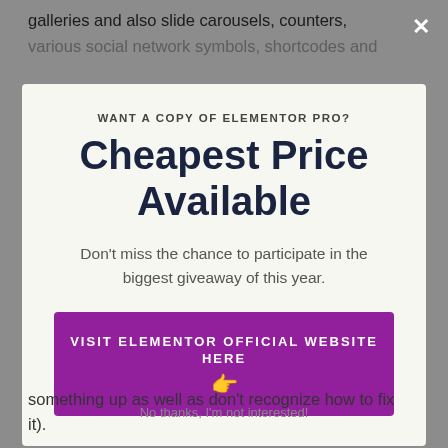galleries and also slide carousels, counters, various social network symbols, shortcodes and
[Figure (screenshot): Modal popup with light green background. Contains subtitle 'WANT A COPY OF ELEMENTOR PRO?', large bold heading 'Cheapest Price Available', body text 'Don't miss the chance to participate in the biggest giveaway of this year.', and a purple button 'VISIT ELEMENTOR OFFICIAL WEBSITE HERE' with a pointing hand emoji. A close (x) button is visible in the top-right corner of the overlay.]
something up as well as don't recognize how to fix it).
No thanks, I'm not interested!